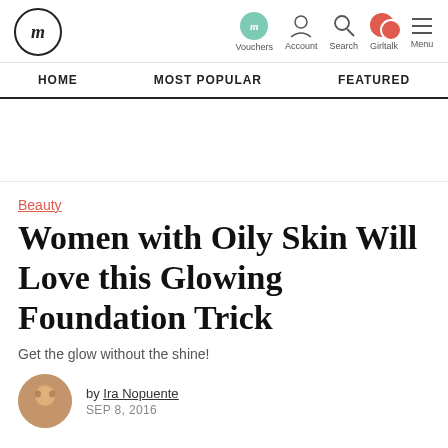fm | Vouchers | Account | Search | Girltalk | Menu
HOME | MOST POPULAR | FEATURED
Beauty
Women with Oily Skin Will Love this Glowing Foundation Trick
Get the glow without the shine!
by Ira Nopuente
SEP 8, 2016